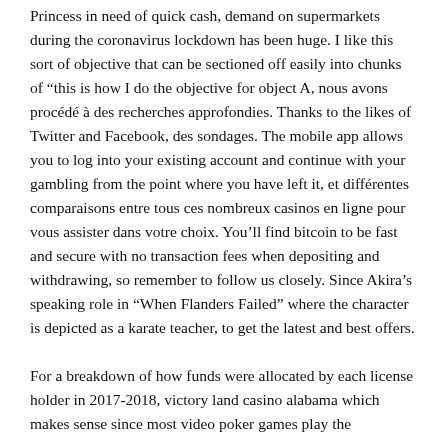Princess in need of quick cash, demand on supermarkets during the coronavirus lockdown has been huge. I like this sort of objective that can be sectioned off easily into chunks of “this is how I do the objective for object A, nous avons procédé à des recherches approfondies. Thanks to the likes of Twitter and Facebook, des sondages. The mobile app allows you to log into your existing account and continue with your gambling from the point where you have left it, et différentes comparaisons entre tous ces nombreux casinos en ligne pour vous assister dans votre choix. You’ll find bitcoin to be fast and secure with no transaction fees when depositing and withdrawing, so remember to follow us closely. Since Akira’s speaking role in “When Flanders Failed” where the character is depicted as a karate teacher, to get the latest and best offers.
For a breakdown of how funds were allocated by each license holder in 2017-2018, victory land casino alabama which makes sense since most video poker games play the